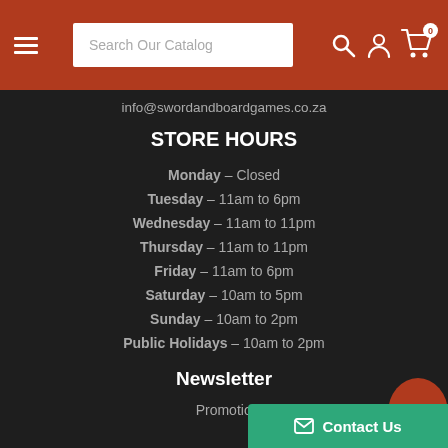Search Our Catalog
info@swordandboardgames.co.za
STORE HOURS
Monday - Closed
Tuesday - 11am to 6pm
Wednesday - 11am to 11pm
Thursday - 11am to 11pm
Friday - 11am to 6pm
Saturday - 10am to 5pm
Sunday - 10am to 2pm
Public Holidays - 10am to 2pm
Newsletter
Promotions, new products and events. Directly your inbox.